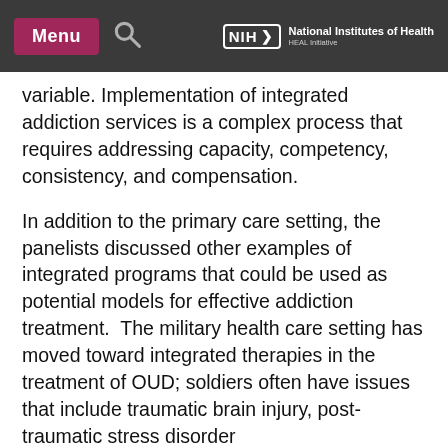Menu | NIH National Institutes of Health HEAL Initiative
variable. Implementation of integrated addiction services is a complex process that requires addressing capacity, competency, consistency, and compensation.
In addition to the primary care setting, the panelists discussed other examples of integrated programs that could be used as potential models for effective addiction treatment.  The military health care setting has moved toward integrated therapies in the treatment of OUD; soldiers often have issues that include traumatic brain injury, post-traumatic stress disorder